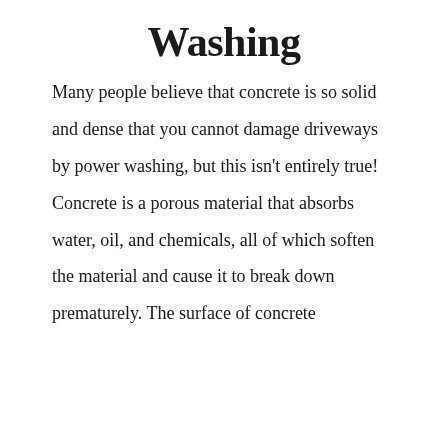Washing
Many people believe that concrete is so solid and dense that you cannot damage driveways by power washing, but this isn't entirely true! Concrete is a porous material that absorbs water, oil, and chemicals, all of which soften the material and cause it to break down prematurely. The surface of concrete